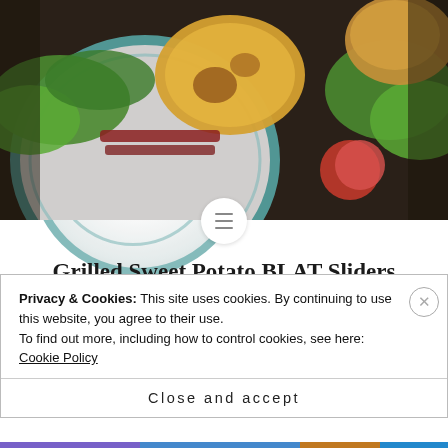[Figure (photo): Food photograph showing grilled sweet potato BLAT sliders on a plate with teal stripes, with lettuce, tomatoes, and grilled bread visible. Dark wooden background.]
Grilled Sweet Potato BLAT Sliders
This deliciousness was most definitely not MY IDEA. It is from the brilliant mind of Brittany Angell over at Real Sustenance. I receive her blog updates through email and as
Privacy & Cookies: This site uses cookies. By continuing to use this website, you agree to their use.
To find out more, including how to control cookies, see here: Cookie Policy
Close and accept